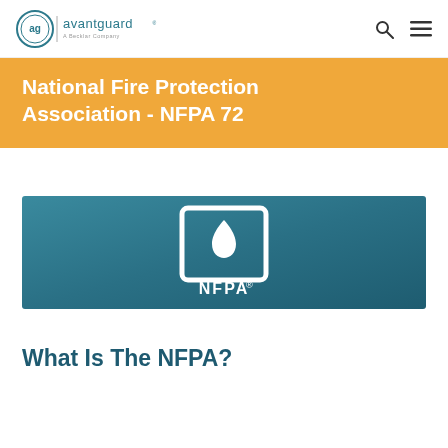avantguard | A Becklar Company
National Fire Protection Association - NFPA 72
[Figure (logo): NFPA logo — white flame-and-square icon with NFPA wordmark on a teal/blue-green gradient background]
What Is The NFPA?